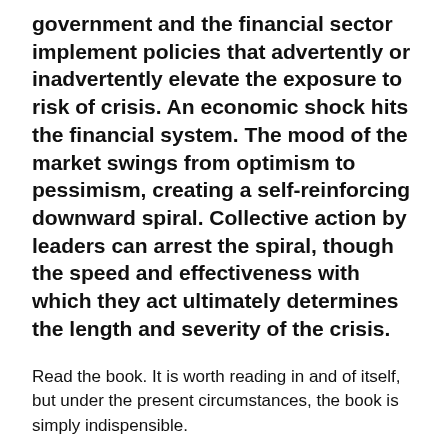government and the financial sector implement policies that advertently or inadvertently elevate the exposure to risk of crisis. An economic shock hits the financial system. The mood of the market swings from optimism to pessimism, creating a self-reinforcing downward spiral. Collective action by leaders can arrest the spiral, though the speed and effectiveness with which they act ultimately determines the length and severity of the crisis.
Read the book. It is worth reading in and of itself, but under the present circumstances, the book is simply indispensible.
A very grateful hat tip to Floyd Norris, of the New York